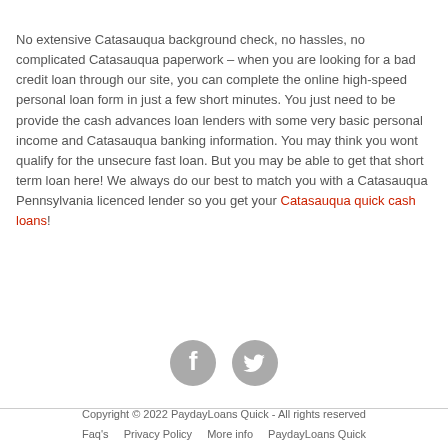No extensive Catasauqua background check, no hassles, no complicated Catasauqua paperwork – when you are looking for a bad credit loan through our site, you can complete the online high-speed personal loan form in just a few short minutes. You just need to be provide the cash advances loan lenders with some very basic personal income and Catasauqua banking information. You may think you wont qualify for the unsecure fast loan. But you may be able to get that short term loan here! We always do our best to match you with a Catasauqua Pennsylvania licenced lender so you get your Catasauqua quick cash loans!
[Figure (other): Social media icons: Facebook and Twitter circular grey icons]
Copyright © 2022 PaydayLoans Quick - All rights reserved  Faq's   Privacy Policy   More info   PaydayLoans Quick